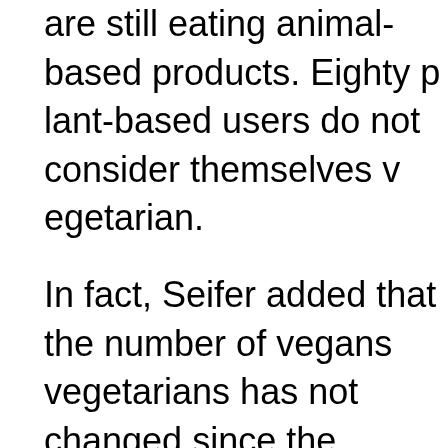are still eating animal-based products. Eighty percent of plant-based users do not consider themselves vegetarian.
In fact, Seifer added that the number of vegans and vegetarians has not changed since the introduction of plant-based proteins.
When it comes to demographics, presenter Nik Capital Markets emphasized that age is an important structural driver. "The younger generation is eco-conscious, but the older generation is more health conscious," noting that people are beginning to place a prem